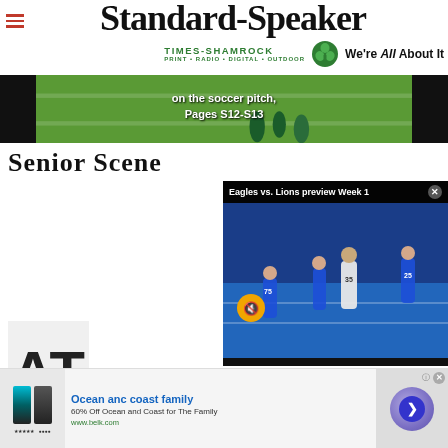[Figure (logo): Standard-Speaker newspaper masthead logo with Times-Shamrock branding and 'We're All About It' slogan]
[Figure (photo): Banner advertisement strip showing soccer/sports action on green pitch with text 'on the soccer pitch, Pages S12-S13' flanked by black panels]
Senior Scene
[Figure (screenshot): Video overlay popup titled 'Eagles vs. Lions preview Week 1' showing NFL football game footage with mute button and close button, with partial 'AT' letters visible in background]
[Figure (photo): Bottom advertisement for 'Ocean anc coast family' - 60% Off Ocean and Coast for The Family, www.belk.com, showing swimwear/shorts product image and navigation button]